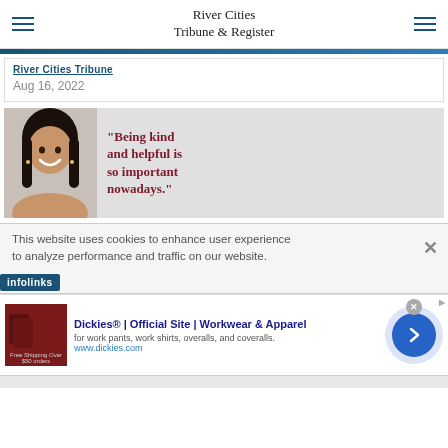River Cities Tribune & Register
River Cities Tribune
Aug 16, 2022
[Figure (photo): Woman smiling with quote text: "Being kind and helpful is so important nowadays."]
This website uses cookies to enhance user experience to analyze performance and traffic on our website.
infolinks
[Figure (screenshot): Ad banner for Dickies® | Official Site | Workwear & Apparel — for work pants, work shirts, overalls, and coveralls. www.dickies.com]